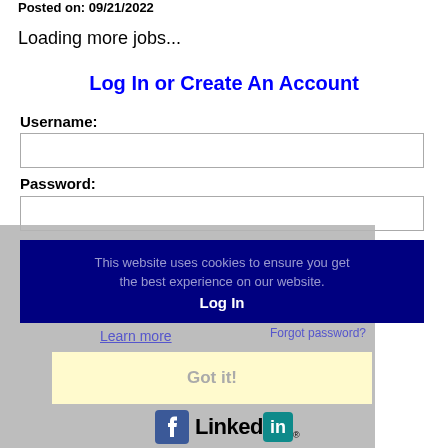Posted on: 09/21/2022
Loading more jobs...
Log In or Create An Account
Username:
Password:
This website uses cookies to ensure you get the best experience on our website.
Log In
Learn more
Forgot password?
Got it!
[Figure (logo): Facebook and LinkedIn social media icons]